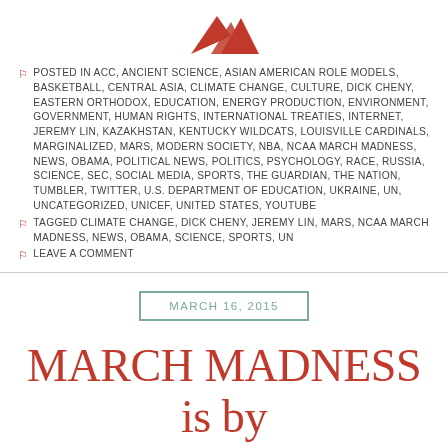[Figure (logo): Red mountain/triangle logo mark at top center]
POSTED IN ACC, ANCIENT SCIENCE, ASIAN AMERICAN ROLE MODELS, BASKETBALL, CENTRAL ASIA, CLIMATE CHANGE, CULTURE, DICK CHENY, EASTERN ORTHODOX, EDUCATION, ENERGY PRODUCTION, ENVIRONMENT, GOVERNMENT, HUMAN RIGHTS, INTERNATIONAL TREATIES, INTERNET, JEREMY LIN, KAZAKHSTAN, KENTUCKY WILDCATS, LOUISVILLE CARDINALS, MARGINALIZED, MARS, MODERN SOCIETY, NBA, NCAA MARCH MADNESS, NEWS, OBAMA, POLITICAL NEWS, POLITICS, PSYCHOLOGY, RACE, RUSSIA, SCIENCE, SEC, SOCIAL MEDIA, SPORTS, THE GUARDIAN, THE NATION, TUMBLER, TWITTER, U.S. DEPARTMENT OF EDUCATION, UKRAINE, UN, UNCATEGORIZED, UNICEF, UNITED STATES, YOUTUBE
TAGGED CLIMATE CHANGE, DICK CHENY, JEREMY LIN, MARS, NCAA MARCH MADNESS, NEWS, OBAMA, SCIENCE, SPORTS, UN
LEAVE A COMMENT
MARCH 16, 2015
MARCH MADNESS is by